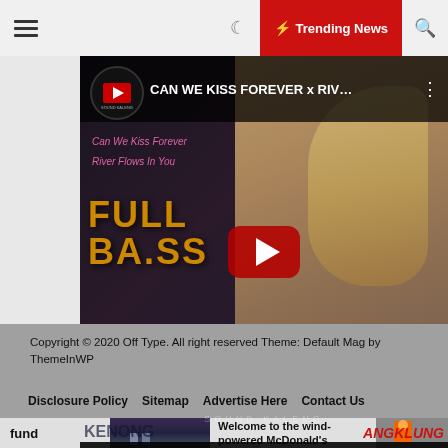☰  ☾  ⚡ Trending News  🔍
[Figure (screenshot): YouTube video player showing 'CAN WE KISS FOREVER x RIV...' with anime artwork, FULL BASS text overlay, play button, progress bar showing 00:00 / 04:31]
Copyright © 2020 Off Type. All right reserved Theme: Default Mag by ThemeInWP
Disclosure Policy
Sitemap
Advertise Here
Contact Us
fund
Welcome to the wind-powered McDonald's